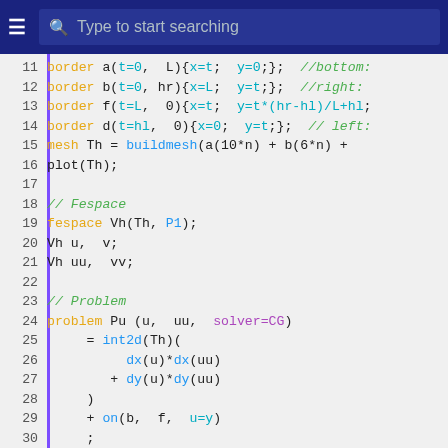Type to start searching
[Figure (screenshot): FreeFEM++ source code editor screenshot showing lines 11-31 with syntax highlighting. Keywords in orange, comments in green italic, function names in blue, special variables in cyan.]